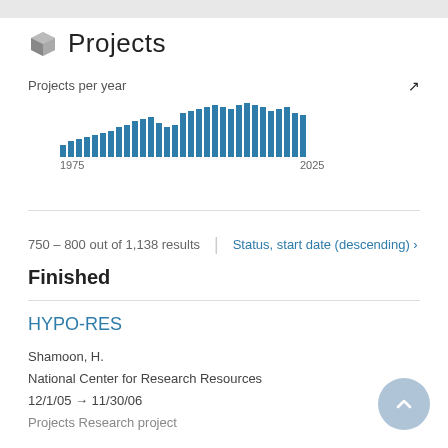Projects
[Figure (bar-chart): Projects per year]
750 – 800 out of 1,138 results
Status, start date (descending) ›
Finished
HYPO-RES
Shamoon, H.
National Center for Research Resources
12/1/05 → 11/30/06
Projects Research project